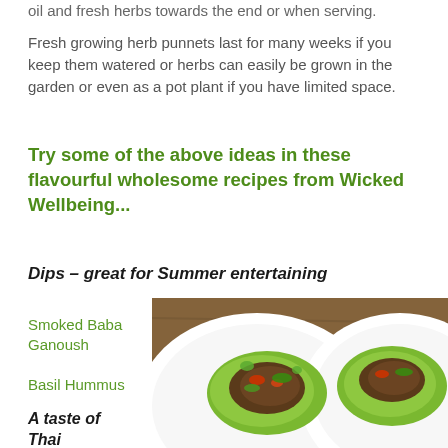oil and fresh herbs towards the end or when serving.
Fresh growing herb punnets last for many weeks if you keep them watered or herbs can easily be grown in the garden or even as a pot plant if you have limited space.
Try some of the above ideas in these flavourful wholesome recipes from Wicked Wellbeing...
Dips – great for Summer entertaining
[Figure (photo): Two white plates with Thai lettuce wraps filled with ground meat, vegetables, fresh herbs, and chilli on a wooden surface]
Smoked Baba Ganoush
Basil Hummus
A taste of Thai